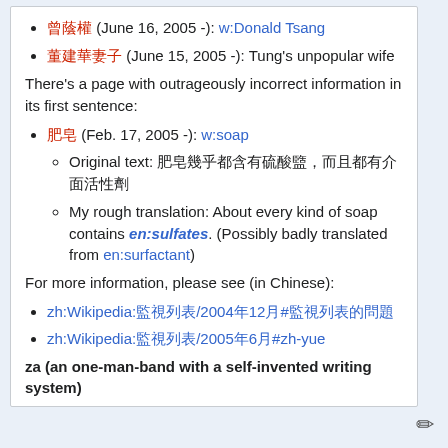曾蔭權 (June 16, 2005 -): w:Donald Tsang
董建華妻子 (June 15, 2005 -): Tung's unpopular wife
There's a page with outrageously incorrect information in its first sentence:
肥皂 (Feb. 17, 2005 -): w:soap
Original text: 肥皂幾乎都含有硫酸盬，而且都有介面活性劑
My rough translation: About every kind of soap contains en:sulfates. (Possibly badly translated from en:surfactant)
For more information, please see (in Chinese):
zh:Wikipedia:監視列表/2004年12月#監視列表的問題
zh:Wikipedia:監視列表/2005年6月#zh-yue
za (an one-man-band with a self-invented writing system)